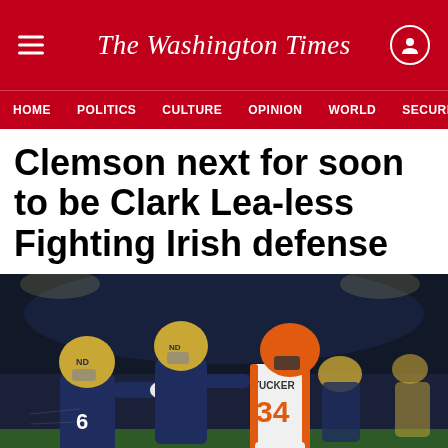The Washington Times
HOME  POLITICS  CULTURE  OPINION  WORLD  SECURITY
Clemson next for soon to be Clark Lea-less Fighting Irish defense
[Figure (photo): Notre Dame football players in navy and gold uniforms tackling an opposing player in white and orange uniform number 34 TUCKER during a night game]